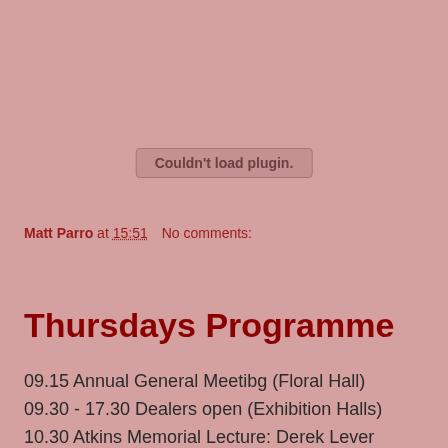[Figure (other): Plugin error box showing 'Couldn't load plugin.' message on pinkish-red background]
Matt Parro at 15:51    No comments:
Share
Thursdays Programme
09.15 Annual General Meetibg (Floral Hall)
09.30 - 17.30 Dealers open (Exhibition Halls)
10.30 Atkins Memorial Lecture: Derek Lever (Congress Theatre)
12.00 Lecture: Rich Bloch (Floral Hall)